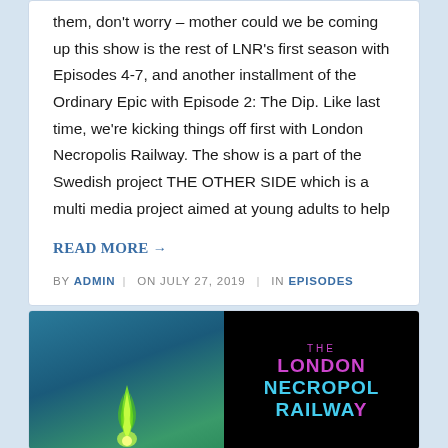them, don't worry – mother could we be coming up this show is the rest of LNR's first season with Episodes 4-7, and another installment of the Ordinary Epic with Episode 2: The Dip. Like last time, we're kicking things off first with London Necropolis Railway. The show is a part of the Swedish project THE OTHER SIDE which is a multi media project aimed at young adults to help
READ MORE →
BY ADMIN | ON JULY 27, 2019 | IN EPISODES
[Figure (illustration): Split image: left half shows a teal/green gradient background with a green flame or ghost figure at the bottom center; right half shows a black background with pink/magenta text 'THE LONDON NECROPOL RAILWAY' in bold neon-style lettering.]